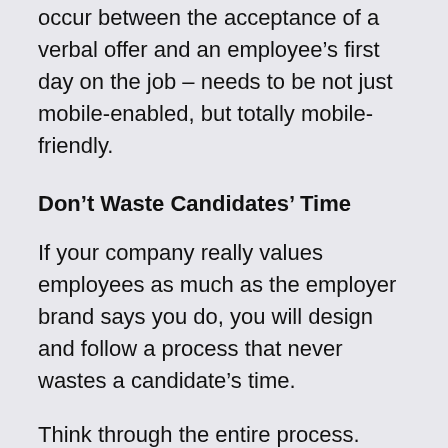occur between the acceptance of a verbal offer and an employee's first day on the job – needs to be not just mobile-enabled, but totally mobile-friendly.
Don't Waste Candidates' Time
If your company really values employees as much as the employer brand says you do, you will design and follow a process that never wastes a candidate's time.
Think through the entire process. When and where do actually you need information? For example, don't ask for background check information before the candidate has passed the